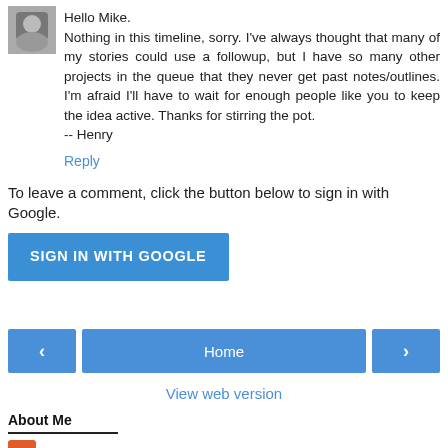Hello Mike.
Nothing in this timeline, sorry. I've always thought that many of my stories could use a followup, but I have so many other projects in the queue that they never get past notes/outlines. I'm afraid I'll have to wait for enough people like you to keep the idea active. Thanks for stirring the pot.
-- Henry
Reply
To leave a comment, click the button below to sign in with Google.
SIGN IN WITH GOOGLE
Home
View web version
About Me